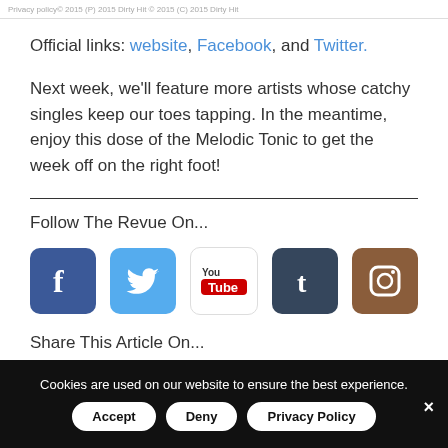Privacy policy   © 2015 (P) 2015 Dirty Hit © 2015 (C) 2015 Dirty Hit
Official links: website, Facebook, and Twitter.
Next week, we'll feature more artists whose catchy singles keep our toes tapping. In the meantime, enjoy this dose of the Melodic Tonic to get the week off on the right foot!
Follow The Revue On...
[Figure (other): Row of social media icons: Facebook, Twitter, YouTube, Tumblr, Instagram]
Share This Article On...
Cookies are used on our website to ensure the best experience. Accept  Deny  Privacy Policy